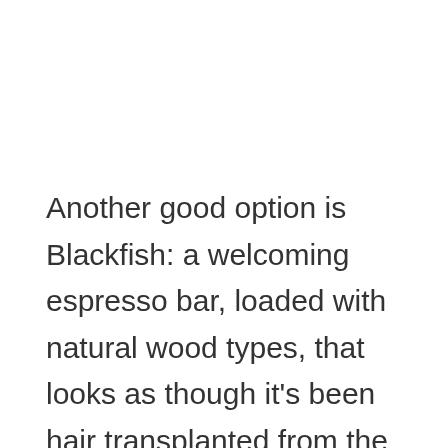Another good option is Blackfish: a welcoming espresso bar, loaded with natural wood types, that looks as though it's been hair transplanted from the streets of Melbourne. The fruity as well as caramelly residence mix, Saucy Ape, comes from Traveling West: a roastery based upon the Sunlight Coastline.